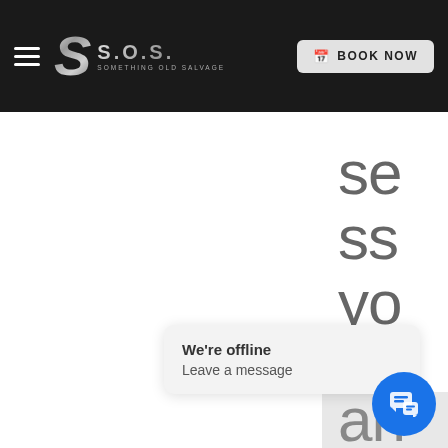S.O.S. Something Old Salvage — BOOK NOW
se ss yo ur pr oj ec
We're offline
Leave a message
an